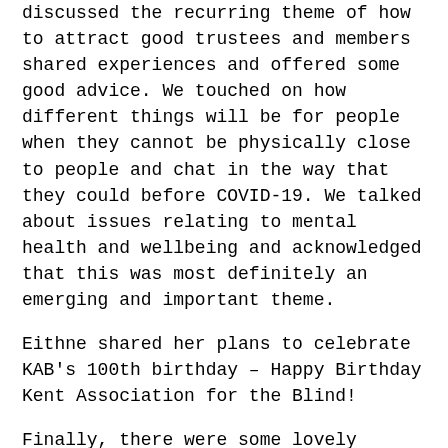discussed the recurring theme of how to attract good trustees and members shared experiences and offered some good advice. We touched on how different things will be for people when they cannot be physically close to people and chat in the way that they could before COVID-19. We talked about issues relating to mental health and wellbeing and acknowledged that this was most definitely an emerging and important theme.
Eithne shared her plans to celebrate KAB's 100th birthday – Happy Birthday Kent Association for the Blind!
Finally, there were some lovely comments for Visionary which we hugely appreciate!  People on the call said that they know they are not alone because of the Visionary sessions with one person described Visionary as her lifesaver. Everyone agreed that having a forum to connect with each other on a regular basis was really helpful and supportive.  Thank you so